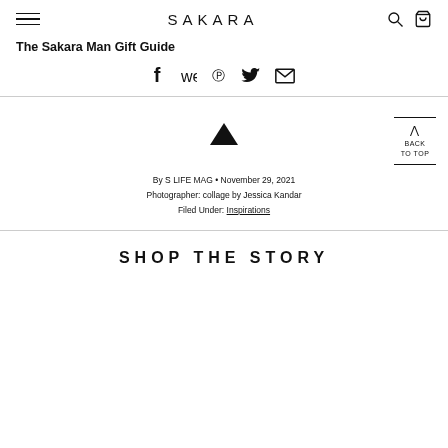SAKARA
The Sakara Man Gift Guide
[Figure (other): Social share icons: Facebook, Pinterest, Twitter, Email]
By S LIFE MAG • November 29, 2021
Photographer: collage by Jessica Kandar
Filed Under: Inspirations
SHOP THE STORY